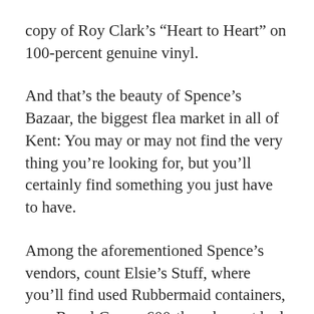copy of Roy Clark's “Heart to Heart” on 100-percent genuine vinyl.
And that’s the beauty of Spence’s Bazaar, the biggest flea market in all of Kent: You may or may not find the very thing you’re looking for, but you’ll certainly find something you just have to have.
Among the aforementioned Spence’s vendors, count Elsie’s Stuff, where you’ll find used Rubbermaid containers, new Royal Crown 600-thread count bed sheets and Genie’s Deluxe 10-Piece Knife Set (“As Seen On TV”); Betty’s Books, with its inventory of $1 and $2 paperback romances